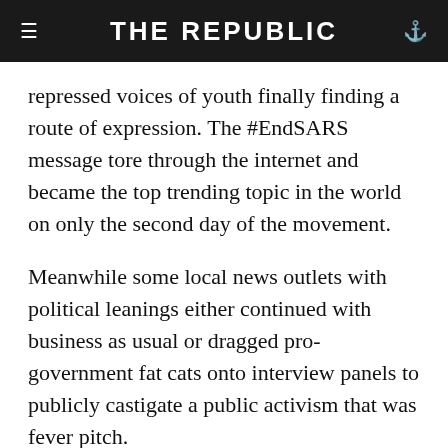THE REPUBLIC
repressed voices of youth finally finding a route of expression. The #EndSARS message tore through the internet and became the top trending topic in the world on only the second day of the movement.
Meanwhile some local news outlets with political leanings either continued with business as usual or dragged pro-government fat cats onto interview panels to publicly castigate a public activism that was fever pitch.
The SARS unit has been accused of targeting young people who appear well-dressed, drive decent cars and own iPhones or laptops.